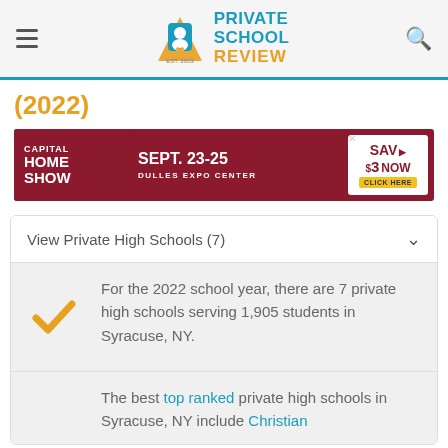Private School Review EST. 2003
(2022)
[Figure (other): Advertisement banner: Capital Home Show Sept. 23-25, Dulles Expo Center, Save $3 Now, Click Here]
View Private High Schools (7)
For the 2022 school year, there are 7 private high schools serving 1,905 students in Syracuse, NY.
The best top ranked private high schools in Syracuse, NY include Christian...